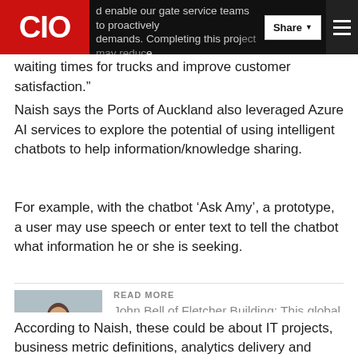CIO | …enable our gate service teams to proactively… demands. Completing this project may reduce waiting times for trucks and improve customer satisfaction."
Naish says the Ports of Auckland also leveraged Azure AI services to explore the potential of using intelligent chatbots to help information/knowledge sharing.
For example, with the chatbot ‘Ask Amy’, a prototype, a user may use speech or enter text to tell the chatbot what information he or she is seeking.
[Figure (photo): Photo of John Bell of Fletcher Building]
READ MORE
John Bell of Fletcher Building: This global CIO embarks on a ‘career sabbatical’
According to Naish, these could be about IT projects, business metric definitions, analytics delivery and